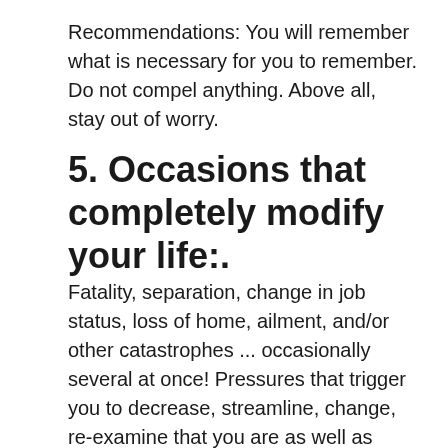Recommendations: You will remember what is necessary for you to remember. Do not compel anything. Above all, stay out of worry.
5. Occasions that completely modify your life:.
Fatality, separation, change in job status, loss of home, ailment, and/or other catastrophes ... occasionally several at once! Pressures that trigger you to decrease, streamline, change, re-examine that you are as well as what your life suggests to you. Pressures that you can not overlook. Forces that create you launch your attachments. Pressures that awaken your sense of love as